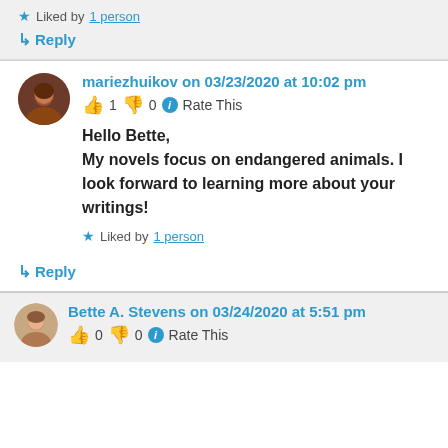★ Liked by 1 person
↳ Reply
mariezhuikov on 03/23/2020 at 10:02 pm
👍 1 👎 0 ℹ Rate This
Hello Bette,
My novels focus on endangered animals. I look forward to learning more about your writings!
★ Liked by 1 person
↳ Reply
Bette A. Stevens on 03/24/2020 at 5:51 pm
👍 0 👎 0 ℹ Rate This